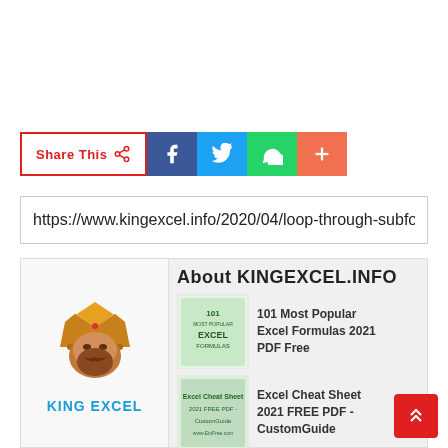[Figure (infographic): Share This button with social media icons: Facebook (blue), Twitter (light blue), WhatsApp (green), More/Plus (orange-red)]
https://www.kingexcel.info/2020/04/loop-through-subfolder
[Figure (infographic): About KINGEXCEL.INFO section with King Excel logo and two book thumbnails: '101 Most Popular Excel Formulas 2021 PDF Free' and 'Excel Cheat Sheet 2021 FREE PDF - CustomGuide']